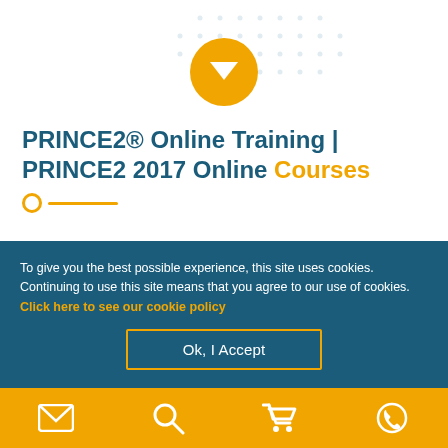[Figure (infographic): Orange circle with down arrow chevron icon at top center, surrounded by dotted grid pattern on white background]
PRINCE2® Online Training | PRINCE2 2017 Online Courses
[Figure (infographic): Course card with laptop/education icon showing PRINCE2® Foundation and Practitioner O... with right arrow chevron]
To give you the best possible experience, this site uses cookies. Continuing to use this site means that you agree to our use of cookies. Click here to see our cookie policy
Ok, I Accept
[Figure (infographic): Orange bottom navigation bar with four icons: email/envelope, search/magnifier, shopping cart, phone]